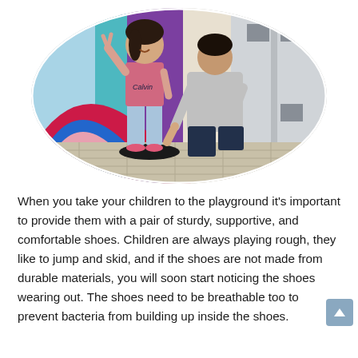[Figure (photo): An oval-cropped photo of a young girl in a pink shirt and jeans with pink shoes standing against a colorful painted mural wall, while a man kneels beside her tying or adjusting her shoes. In the background is a grey illustrated building facade on the right.]
When you take your children to the playground it's important to provide them with a pair of sturdy, supportive, and comfortable shoes. Children are always playing rough, they like to jump and skid, and if the shoes are not made from durable materials, you will soon start noticing the shoes wearing out. The shoes need to be breathable too to prevent bacteria from building up inside the shoes.